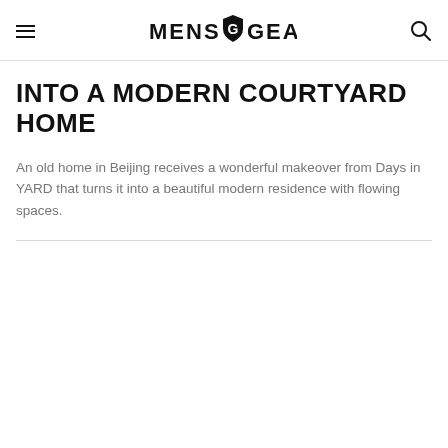MENS GEAR
INTO A MODERN COURTYARD HOME
An old home in Beijing receives a wonderful makeover from Days in YARD that turns it into a beautiful modern residence with flowing spaces.